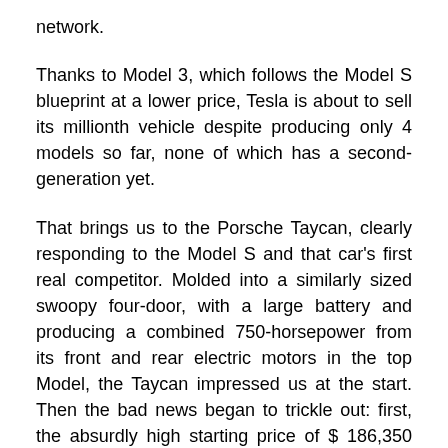network.
Thanks to Model 3, which follows the Model S blueprint at a lower price, Tesla is about to sell its millionth vehicle despite producing only 4 models so far, none of which has a second-generation yet.
That brings us to the Porsche Taycan, clearly responding to the Model S and that car's first real competitor. Molded into a similarly sized swoopy four-door, with a large battery and producing a combined 750-horsepower from its front and rear electric motors in the top Model, the Taycan impressed us at the start. Then the bad news began to trickle out: first, the absurdly high starting price of $ 186,350 for the Turbo S, followed shortly by the EPA's absurdly low range figure of 192-miles.